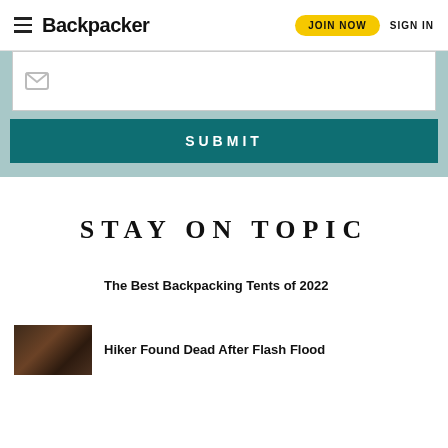Backpacker — JOIN NOW  SIGN IN
[Figure (screenshot): Email input field with envelope icon, partially visible at top of a teal/light-blue background form section]
SUBMIT
STAY ON TOPIC
The Best Backpacking Tents of 2022
Hiker Found Dead After Flash Flood